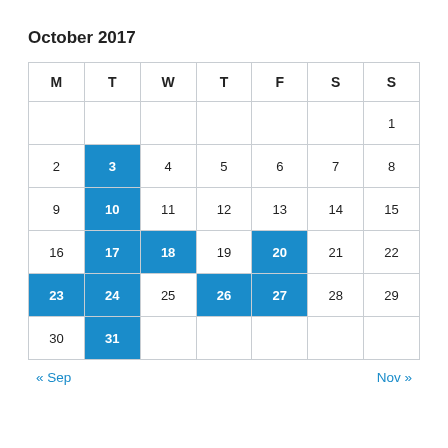October 2017
| M | T | W | T | F | S | S |
| --- | --- | --- | --- | --- | --- | --- |
|  |  |  |  |  |  | 1 |
| 2 | 3 | 4 | 5 | 6 | 7 | 8 |
| 9 | 10 | 11 | 12 | 13 | 14 | 15 |
| 16 | 17 | 18 | 19 | 20 | 21 | 22 |
| 23 | 24 | 25 | 26 | 27 | 28 | 29 |
| 30 | 31 |  |  |  |  |  |
« Sep    Nov »